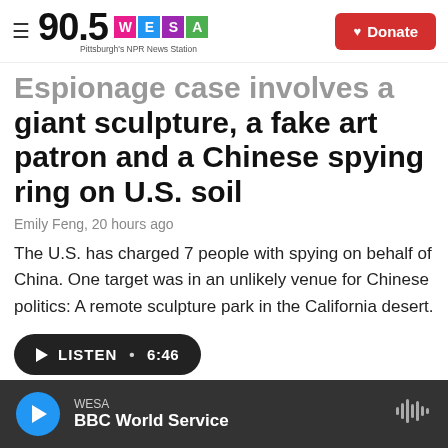90.5 WESA – Pittsburgh's NPR News Station | Donate
Espionage case involves a giant sculpture, a fake art patron and a Chinese spying ring on U.S. soil
Emily Feng,  20 hours ago
The U.S. has charged 7 people with spying on behalf of China. One target was in an unlikely venue for Chinese politics: A remote sculpture park in the California desert.
LISTEN • 6:46
WESA – BBC World Service